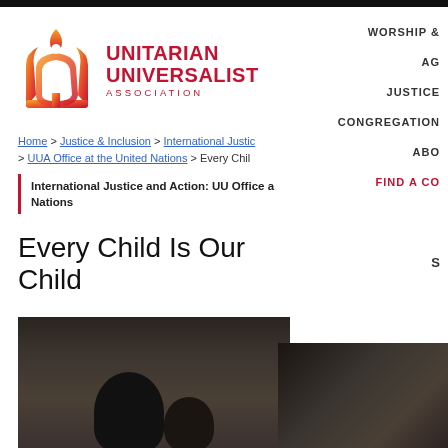[Figure (logo): Unitarian Universalist Association logo: red/orange chalice flame icon with red UU letters forming a U shape, next to text 'UNITARIAN UNIVERSALIST ASSOCIATION' in red]
WORSHIP &
AG
JUSTICE
CONGREGATION
ABO
FIND A CO
Home > Justice & Inclusion > International Justic > UUA Office at the United Nations > Every Chil
International Justice and Action: UU Office a Nations
Every Child Is Our Child
[Figure (photo): Dark photograph showing silhouettes/heads of children, appears to be African children in low light against a dark background]
S